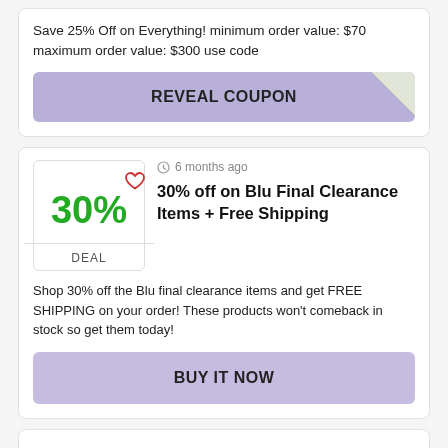Save 25% Off on Everything! minimum order value: $70 maximum order value: $300 use code
[Figure (infographic): Purple REVEAL COUPON button with folded corner effect]
6 months ago
30% off on Blu Final Clearance Items + Free Shipping
Shop 30% off the Blu final clearance items and get FREE SHIPPING on your order! These products won't comeback in stock so get them today!
[Figure (infographic): Purple BUY IT NOW button]